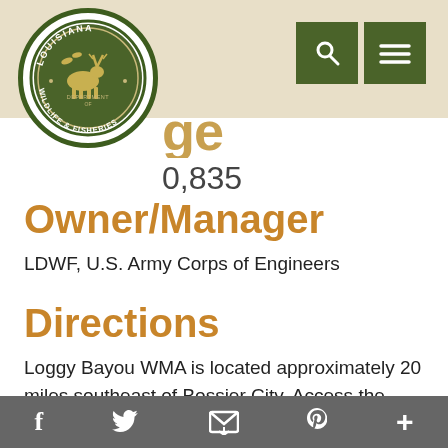[Figure (logo): Louisiana Department of Wildlife and Fisheries circular logo with deer, ducks, and wildlife on a white background with dark green border]
Owner/Manager
LDWF, U.S. Army Corps of Engineers
Directions
Loggy Bayou WMA is located approximately 20 miles southeast of Bossier City. Access the northern portion of the area off of LA Hwy 154, just east of Lake Bistineau. Access the southern
f  y  [email icon]  p  +